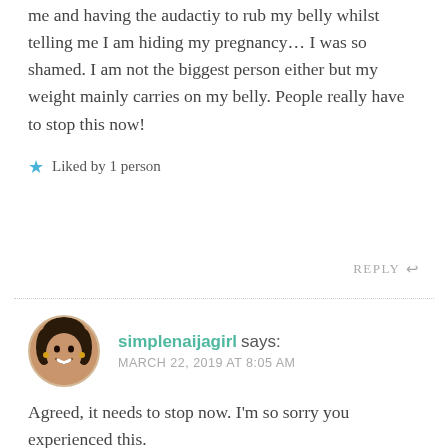me and having the audactiy to rub my belly whilst telling me I am hiding my pregnancy… I was so shamed. I am not the biggest person either but my weight mainly carries on my belly. People really have to stop this now!
★ Liked by 1 person
REPLY ↩
simplenaijagirl says: MARCH 22, 2019 AT 8:05 AM
Agreed, it needs to stop now. I'm so sorry you experienced this.
★ Liked by 1 person